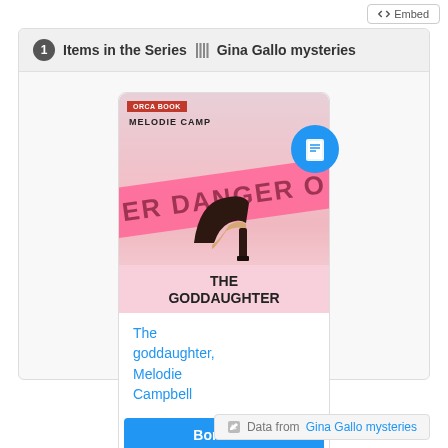<> Embed
1 Items in the Series ||| Gina Gallo mysteries
[Figure (illustration): Book cover of 'The Goddaughter' by Melodie Campbell showing a stiletto heel with pink danger tape and an ebook badge icon]
The goddaughter, Melodie Campbell
Borrow it
Data from Gina Gallo mysteries